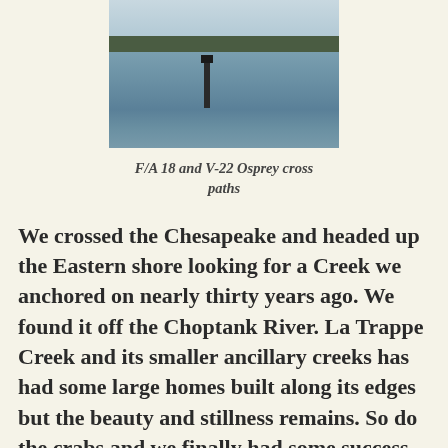[Figure (photo): A waterway scene showing open water with a navigation marker post in the middle, a treeline on the distant shore, and a light blue sky above.]
F/A 18 and V-22 Osprey cross paths
We crossed the Chesapeake and headed up the Eastern shore looking for a Creek we anchored on nearly thirty years ago. We found it off the Choptank River. La Trappe Creek and its smaller ancillary creeks has had some large homes built along its edges but the beauty and stillness remains. So do the crabs and we finally had some success